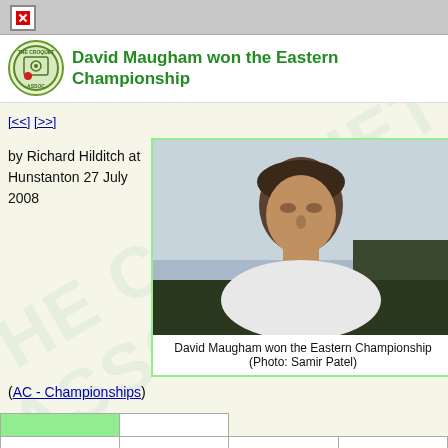[Figure (logo): The Croquet Association circular logo]
David Maugham won the Eastern Championship
[<<] [>>]
by Richard Hilditch at Hunstanton 27 July 2008
[Figure (photo): Photo of David Maugham, a man in a white shirt looking upward, outdoors]
David Maugham won the Eastern Championship (Photo: Samir Patel)
(AC - Championships)
|  |  |
|  |  |  |  |